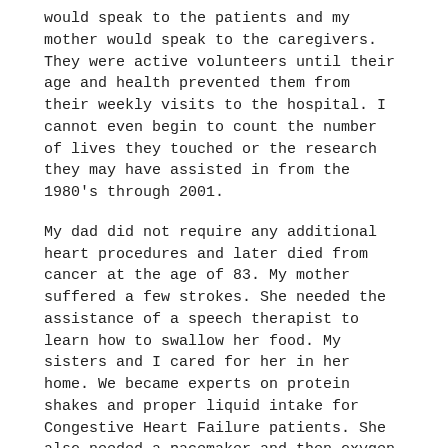would speak to the patients and my mother would speak to the caregivers. They were active volunteers until their age and health prevented them from their weekly visits to the hospital. I cannot even begin to count the number of lives they touched or the research they may have assisted in from the 1980's through 2001.
My dad did not require any additional heart procedures and later died from cancer at the age of 83. My mother suffered a few strokes. She needed the assistance of a speech therapist to learn how to swallow her food. My sisters and I cared for her in her home. We became experts on protein shakes and proper liquid intake for Congestive Heart Failure patients. She also needed a pacemaker and then oxygen for her Chronic Obstructive Pulmonary Disorder (COPD). She died at the age of 87 from COPD. It was during the last year of her care I began to notice symptoms of my own. I didn't have time to be sick and I almost waited too late to help myself. I was definitely in denial.